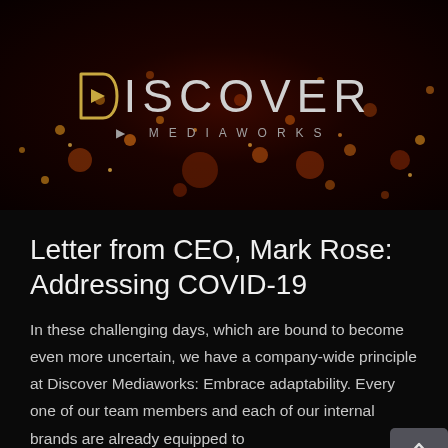[Figure (logo): Discover Mediaworks logo on dark background with orange/red bokeh spark particles. Large DISCOVER text with stylized D icon, MEDIAWORKS in smaller spaced text below.]
Letter from CEO, Mark Rose: Addressing COVID-19
In these challenging days, which are bound to become even more uncertain, we have a company-wide principle at Discover Mediaworks: Embrace adaptability. Every one of our team members and each of our internal brands are already equipped to